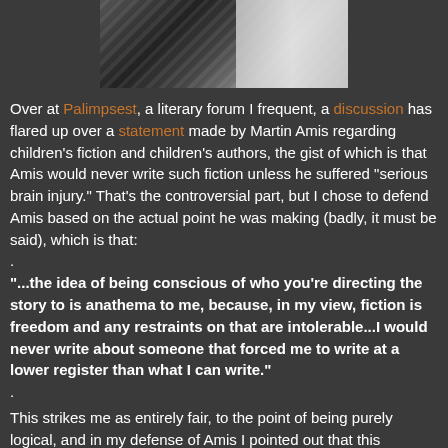[Figure (photo): Dark photograph showing a shadowy figure or scene with blinds or vertical lines on the left and a lighter area on the right]
Over at Palimpsest, a literary forum I frequent, a discussion has flared up over a statement made by Martin Amis regarding children's fiction and children's authors, the gist of which is that Amis would never write such fiction unless he suffered "serious brain injury." That's the controversial part, but I chose to defend Amis based on the actual point he was making (badly, it must be said), which is that:
.
"...the idea of being conscious of who you're directing the story to is anathema to me, because, in my view, fiction is freedom and any restraints on that are intolerable...I would never write about someone that forced me to write at a lower register than what I can write."
.
This strikes me as entirely fair, to the point of being purely logical, and in my defense of Amis I pointed out that this